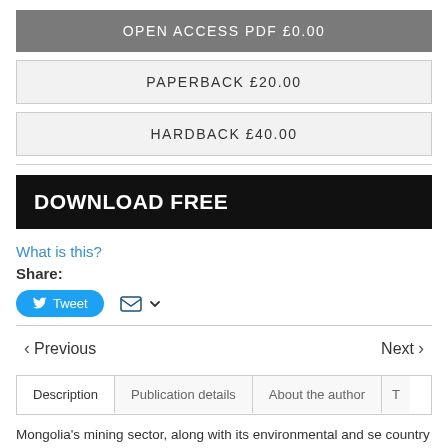OPEN ACCESS PDF £0.00
PAPERBACK £20.00
HARDBACK £40.00
DOWNLOAD FREE
What is this?
Share:
Tweet
Previous
Next
Description
Publication details
About the author
Mongolia’s mining sector, along with its environmental and se country as either a victim of the ‘resource curse’ or guilty of ‘r